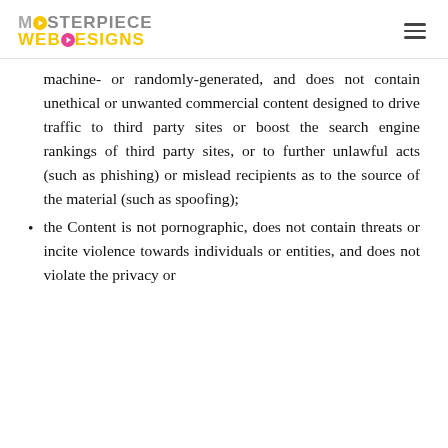MASTERPIECE WEB DESIGNS [logo with hamburger menu]
machine- or randomly-generated, and does not contain unethical or unwanted commercial content designed to drive traffic to third party sites or boost the search engine rankings of third party sites, or to further unlawful acts (such as phishing) or mislead recipients as to the source of the material (such as spoofing);
the Content is not pornographic, does not contain threats or incite violence towards individuals or entities, and does not violate the privacy or